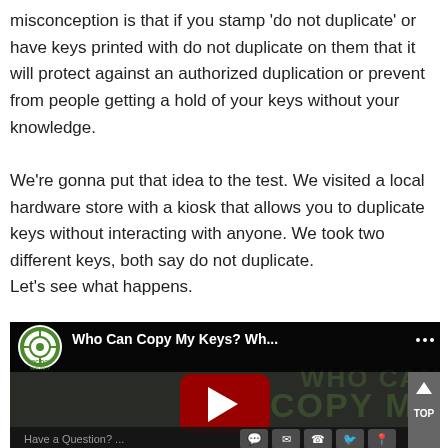misconception is that if you stamp 'do not duplicate' or have keys printed with do not duplicate on them that it will protect against an authorized duplication or prevent from people getting a hold of your keys without your knowledge.
We're gonna put that idea to the test. We visited a local hardware store with a kiosk that allows you to duplicate keys without interacting with anyone. We took two different keys, both say do not duplicate.
Let's see what happens.
[Figure (screenshot): Embedded YouTube video thumbnail showing 'Who Can Copy My Keys? Wh...' by LOC-DOC SECURITY channel, with a dark background, large red play button in center, partial text overlay 'COPY MY' and 'WHO CAN', and a bottom bar with 'Have a Question?' and social/contact icons (chat, email, phone, Twitter, location). A grey 'TOP' button with an up arrow is visible on the right side.]